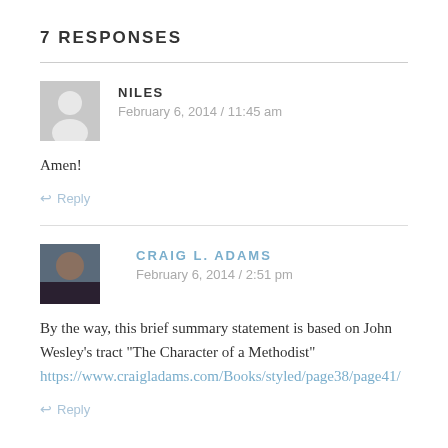7 RESPONSES
NILES
February 6, 2014 / 11:45 am
Amen!
Reply
CRAIG L. ADAMS
February 6, 2014 / 2:51 pm
By the way, this brief summary statement is based on John Wesley's tract "The Character of a Methodist"
https://www.craigladams.com/Books/styled/page38/page41/
Reply